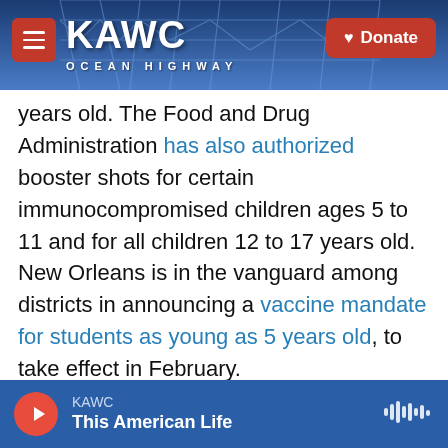KAWC | Donate
years old. The Food and Drug Administration has also authorized booster shots for certain immunocompromised children ages 5 to 11 and for all children 12 to 17 years old. New Orleans is in the vanguard among districts in announcing a vaccine mandate for students as young as 5 years old, to take effect in February.

Schools are also increasingly relying on rapid tests, which produce results in as little as 15 minutes. These can be used both for detecting cases and for keeping children in school after an exposure, under a protocol that the Centers for Disease Control and
KAWC | This American Life